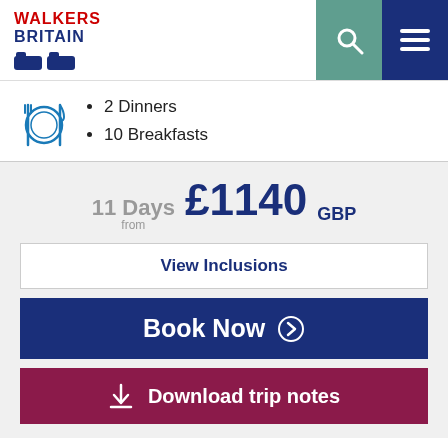[Figure (logo): Walkers Britain logo with red 'WALKERS' text, blue 'BRITAIN' text, and two blue boot icons]
2 Dinners
10 Breakfasts
11 Days from £1140 GBP
View Inclusions
Book Now
Download trip notes
Overview
Ask an Expert